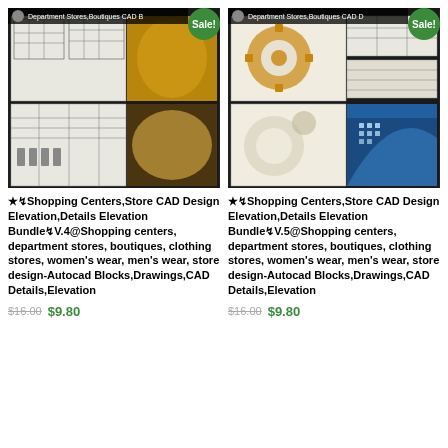[Figure (photo): Product listing image for Shopping Centers Store CAD Design Elevation Bundle V.4 showing architectural CAD floor plans and interior photo collage]
★↯Shopping Centers,Store CAD Design Elevation,Details Elevation Bundle↯V.4@Shopping centers, department stores, boutiques, clothing stores, women's wear, men's wear, store design-Autocad Blocks,Drawings,CAD Details,Elevation
$16.00 $9.80
[Figure (photo): Product listing image for Shopping Centers Store CAD Design Elevation Bundle V.5 showing architectural CAD drawings and modern building exterior photo collage]
★↯Shopping Centers,Store CAD Design Elevation,Details Elevation Bundle↯V.5@Shopping centers, department stores, boutiques, clothing stores, women's wear, men's wear, store design-Autocad Blocks,Drawings,CAD Details,Elevation
$16.00 $9.80